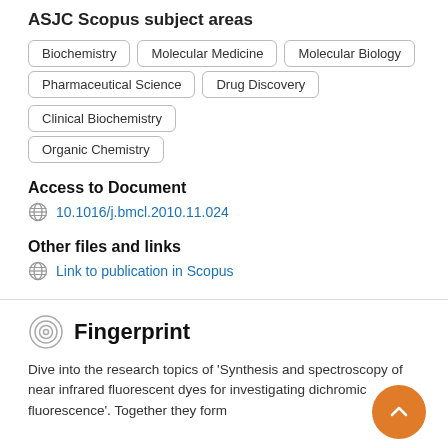ASJC Scopus subject areas
Biochemistry
Molecular Medicine
Molecular Biology
Pharmaceutical Science
Drug Discovery
Clinical Biochemistry
Organic Chemistry
Access to Document
10.1016/j.bmc l.2010.11.024
Other files and links
Link to publication in Scopus
Fingerprint
Dive into the research topics of 'Synthesis and spectroscopy of near infrared fluorescent dyes for investigating dichromic fluorescence'. Together they form